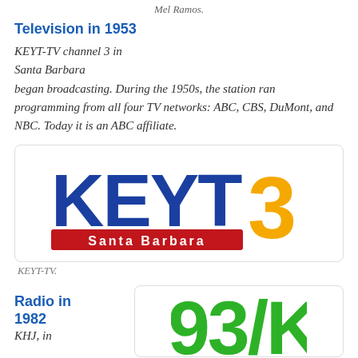Mel Ramos.
Television in 1953
KEYT-TV channel 3 in Santa Barbara began broadcasting. During the 1950s, the station ran programming from all four TV networks: ABC, CBS, DuMont, and NBC. Today it is an ABC affiliate.
[Figure (logo): KEYT-TV channel 3 Santa Barbara logo. Blue bold letters KEYT, gold/yellow numeral 3, red banner with white text Santa Barbara.]
KEYT-TV.
Radio in 1982
KHJ, in
[Figure (logo): Partial green text logo beginning with 93/KHJ, partially cropped at bottom of page.]